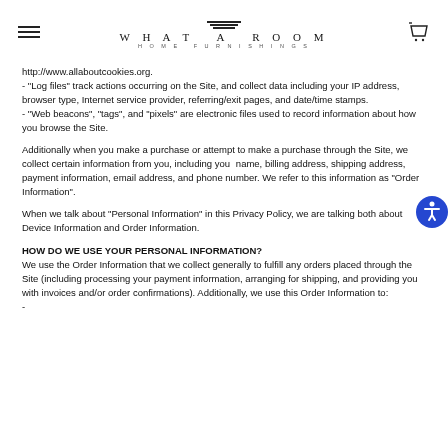WHAT A ROOM HOME FURNISHINGS
http://www.allaboutcookies.org.
- "Log files" track actions occurring on the Site, and collect data including your IP address, browser type, Internet service provider, referring/exit pages, and date/time stamps.
- "Web beacons", "tags", and "pixels" are electronic files used to record information about how you browse the Site.
Additionally when you make a purchase or attempt to make a purchase through the Site, we collect certain information from you, including your name, billing address, shipping address, payment information, email address, and phone number. We refer to this information as "Order Information".
When we talk about "Personal Information" in this Privacy Policy, we are talking both about Device Information and Order Information.
HOW DO WE USE YOUR PERSONAL INFORMATION?
We use the Order Information that we collect generally to fulfill any orders placed through the Site (including processing your payment information, arranging for shipping, and providing you with invoices and/or order confirmations). Additionally, we use this Order Information to:
-